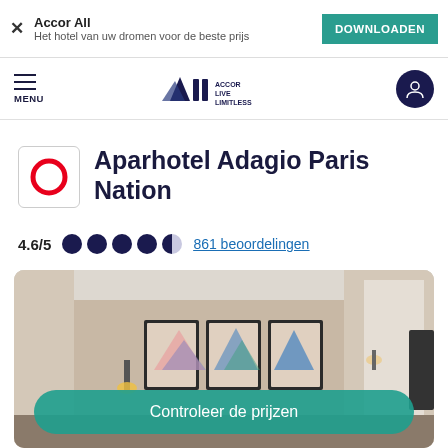Accor All – Het hotel van uw dromen voor de beste prijs – DOWNLOADEN
[Figure (logo): Accor ALL Live Limitless logo in navigation bar]
Aparhotel Adagio Paris Nation
4.6/5  ●●●●◑  861 beoordelingen
[Figure (photo): Hotel room interior with framed art, curtains and modern decor. Button overlay: Controleer de prijzen]